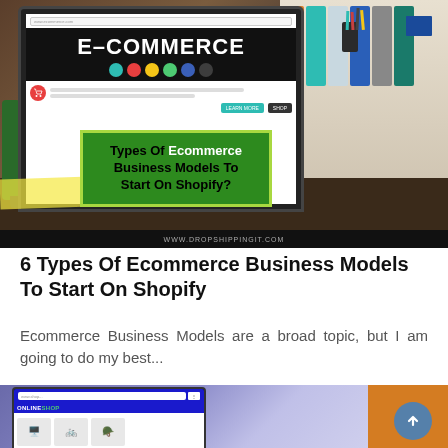[Figure (photo): E-commerce laptop screen on desk with office background, green overlay box reading 'Types Of Ecommerce Business Models To Start On Shopify?' and website URL www.dropshippingit.com at bottom]
6 Types Of Ecommerce Business Models To Start On Shopify
Ecommerce Business Models are a broad topic, but I am going to do my best...
[Figure (photo): Tablet showing an online shop with bicycle and helmet products, blue Facebook-style header, on purple/grey background with orange rectangle in corner]